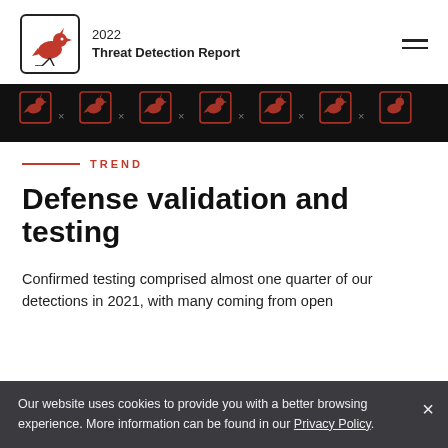2022 Threat Detection Report
[Figure (illustration): Dark hero banner with repeating red and white stylized bird logos and X marks on black background]
TREND
Defense validation and testing
Confirmed testing comprised almost one quarter of our detections in 2021, with many coming from open
Our website uses cookies to provide you with a better browsing experience. More information can be found in our Privacy Policy.